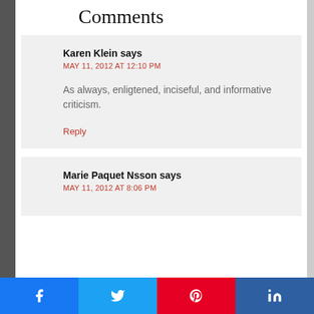Comments
Karen Klein says
MAY 11, 2012 AT 12:10 PM

As always, enligtened, inciseful, and informative criticism.

Reply
Marie Paquet Nsson says
MAY 11, 2012 AT 8:06 PM